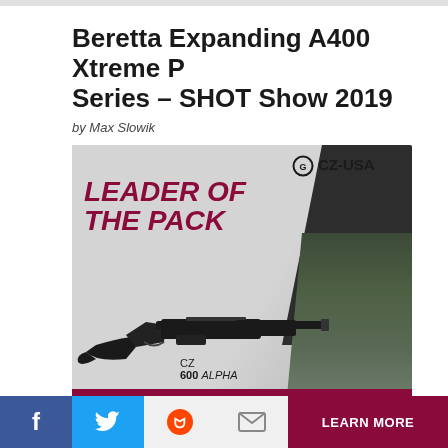Beretta Expanding A400 Xtreme Plus Series – SHOT Show 2019
by Max Slowik
[Figure (illustration): CZ-USA advertisement featuring the CZ 600 ALPHA rifle with text 'LEADER OF THE PACK' in red italic bold, CZ-USA logo top right, rifle image, and 'LEARN MORE' button on maroon background.]
Social sharing bar: Facebook, Twitter, Reddit, Email, Learn More